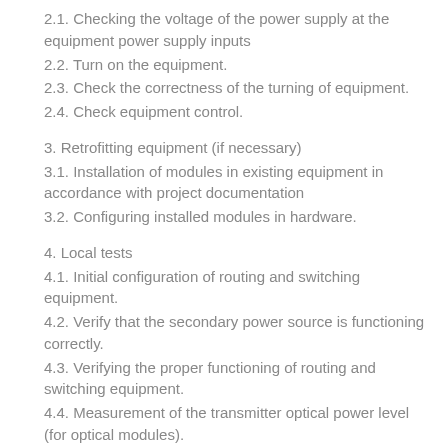2.1. Checking the voltage of the power supply at the equipment power supply inputs
2.2. Turn on the equipment.
2.3. Check the correctness of the turning of equipment.
2.4. Check equipment control.
3. Retrofitting equipment (if necessary)
3.1. Installation of modules in existing equipment in accordance with project documentation
3.2. Configuring installed modules in hardware.
4. Local tests
4.1. Initial configuration of routing and switching equipment.
4.2. Verify that the secondary power source is functioning correctly.
4.3. Verifying the proper functioning of routing and switching equipment.
4.4. Measurement of the transmitter optical power level (for optical modules).
4.5. Measurement of optical power at the receiving end (for optical modules).
4.6. Configuration of routing and switching equipment in accordance with the project documentation.